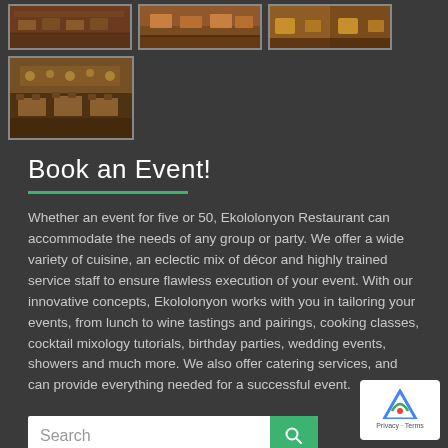[Figure (photo): Three restaurant interior thumbnail photos in a row showing dining areas with wooden tables and warm lighting]
[Figure (photo): One restaurant interior thumbnail photo showing a larger dining room with rows of tables and chairs]
Book an Event!
Whether an event for five or 50, Ekololonyon Restaurant can accommodate the needs of any group or party. We offer a wide variety of cuisine, an eclectic mix of décor and highly trained service staff to ensure flawless execution of your event. With our innovative concepts, Ekololonyon works with you in tailoring your events, from lunch to wine tastings and pairings, cooking classes, cocktail mixology tutorials, birthday parties, wedding events, showers and much more. We also offer catering services, and can provide everything needed for a successful event.